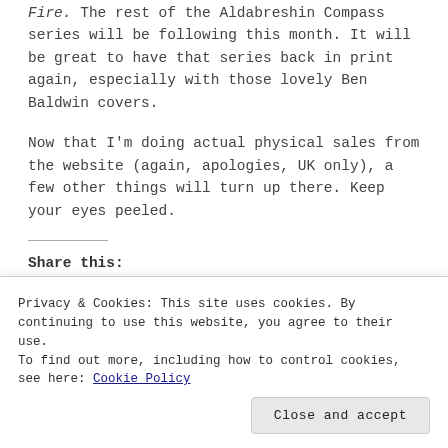Fire. The rest of the Aldabreshin Compass series will be following this month. It will be great to have that series back in print again, especially with those lovely Ben Baldwin covers.
Now that I'm doing actual physical sales from the website (again, apologies, UK only), a few other things will turn up there. Keep your eyes peeled.
Share this:
Privacy & Cookies: This site uses cookies. By continuing to use this website, you agree to their use.
To find out more, including how to control cookies, see here: Cookie Policy